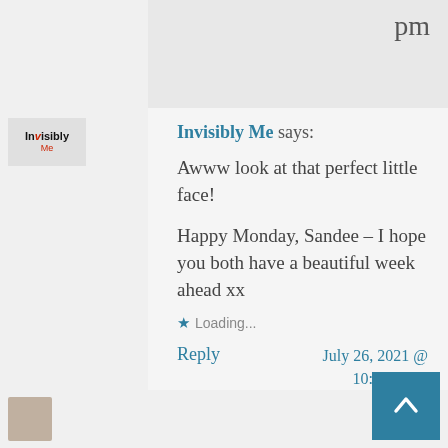pm
[Figure (logo): Invisibly Me blog logo — small text logo with 'Invisibly Me' in black and red]
Invisibly Me says:
Awww look at that perfect little face!

Happy Monday, Sandee – I hope you both have a beautiful week ahead xx
Loading...
Reply
July 26, 2021 @ 10:26 am at 10:26